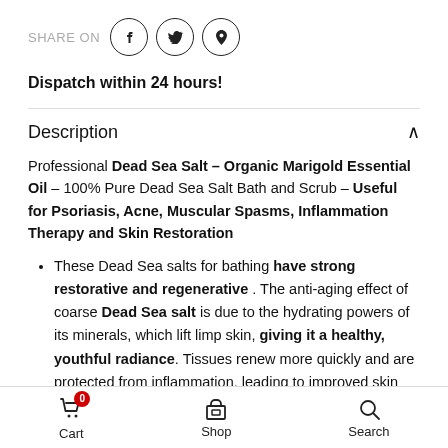SHARE ON
Dispatch within 24 hours!
Description
Professional Dead Sea Salt – Organic Marigold Essential Oil – 100% Pure Dead Sea Salt Bath and Scrub – Useful for Psoriasis, Acne, Muscular Spasms, Inflammation Therapy and Skin Restoration
These Dead Sea salts for bathing have strong restorative and regenerative . The anti-aging effect of coarse Dead Sea salt is due to the hydrating powers of its minerals, which lift limp skin, giving it a healthy, youthful radiance. Tissues renew more quickly and are protected from inflammation, leading to improved skin tone.
Cart  Shop  Search